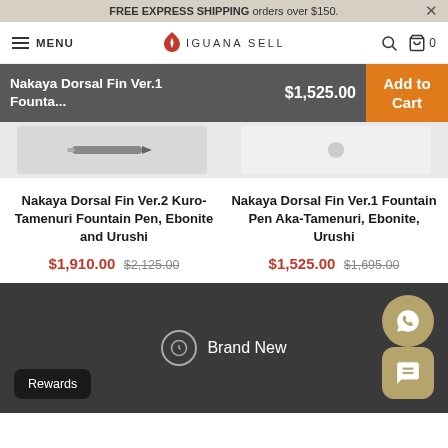FREE EXPRESS SHIPPING orders over $150.
[Figure (screenshot): Iguana Sell website navigation bar with menu icon, logo, search and cart icons]
Nakaya Dorsal Fin Ver.1 Founta...
$1,525.00
Add to Cart
[Figure (photo): Pen product images shown in a two-column product grid]
Nakaya Dorsal Fin Ver.2 Kuro-Tamenuri Fountain Pen, Ebonite and Urushi
$1,910.00 $2,125.00
Nakaya Dorsal Fin Ver.1 Fountain Pen Aka-Tamenuri, Ebonite, Urushi
$1,525.00 $1,695.00
Brand New
Rewards